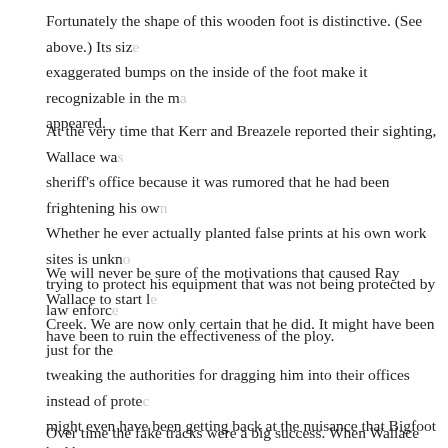Fortunately the shape of this wooden foot is distinctive. (See above.) Its size, exaggerated bumps on the inside of the foot make it recognizable in the ma... appeared.
At the very time that Kerr and Breazele reported their sighting, Wallace was sheriff's office because it was rumored that he had been frightening his ow... Whether he ever actually planted false prints at his own work sites is unkno... trying to protect his equipment that was not being protected by law enforce... have been to ruin the effectiveness of the ploy.
We will never be sure of the motivations that caused Ray Wallace to start l... Creek. We are now only certain that he did. It might have been just for the tweaking the authorities for dragging him into their offices instead of protec... might even have been getting back at the nuisance that Bigfoot had becom... been launching himself on a long term strategy to make money from the pr... had just taken the world by storm in October of 1958.
Over time the fake tracks were a big success. When Wallace tried to follow...